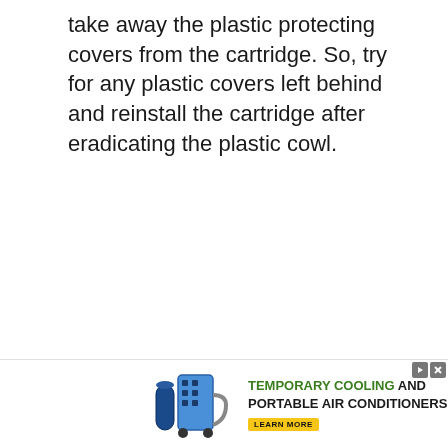take away the plastic protecting covers from the cartridge. So, try for any plastic covers left behind and reinstall the cartridge after eradicating the plastic cowl.
So, No...
[Figure (infographic): Advertisement banner: Image of industrial cooling equipment on the left, text 'TEMPORARY COOLING AND PORTABLE AIR CONDITIONERS' with a 'LEARN MORE' button in yellow, and Sunbelt Rentals logo on the right with play/close controls.]